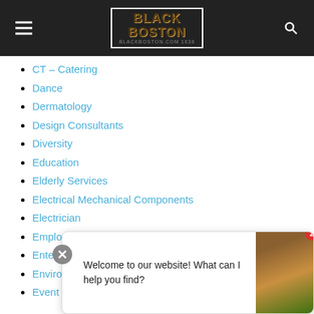Black Boston - BlackBoston.com 1638
CT – Catering
Dance
Dermatology
Design Consultants
Diversity
Education
Elderly Services
Electrical Mechanical Components
Electrician
Employers Hiring BlackBoston.com Readers
Entertainment
Environment
Event Planning
Welcome to our website! What can I help you find?